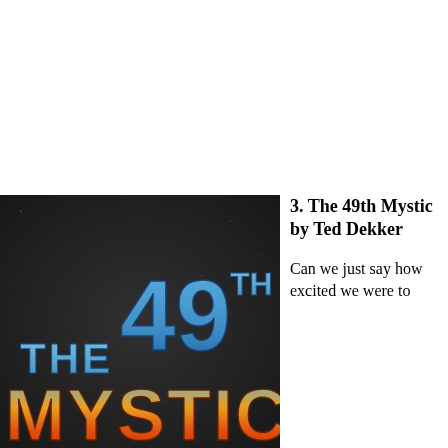[Figure (illustration): Book cover of 'The 49th Mystic' by Ted Dekker, showing large stylized text on a dark textured background. The text '49TH' appears in blue gradient, 'THE' in blue, and 'MYSTIC' in a gradient from blue to orange/yellow at the bottom.]
3. The 49th Mystic by Ted Dekker
Can we just say how excited we were to